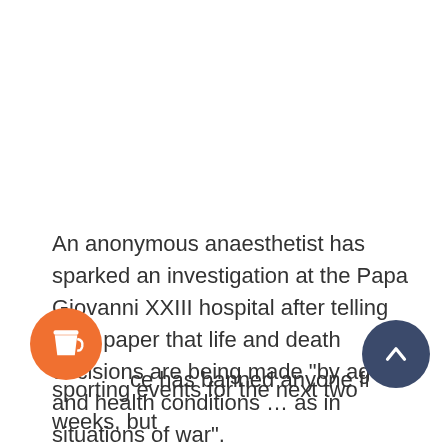An anonymous anaesthetist has sparked an investigation at the Papa Giovanni XXIII hospital after telling local paper that life and death decisions are being made “by age and health conditions … as in situations of war”.
...ce has banned anyone from attending sporting events for the next two weeks, but